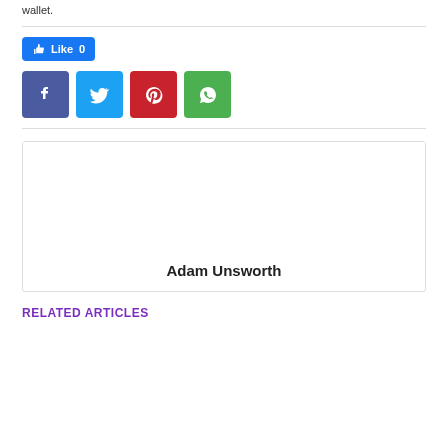wallet.
[Figure (infographic): Social sharing buttons: Facebook Like button showing count 0, then Facebook, Twitter, Pinterest, and WhatsApp icon buttons]
[Figure (other): Author box with photo area and name: Adam Unsworth]
RELATED ARTICLES